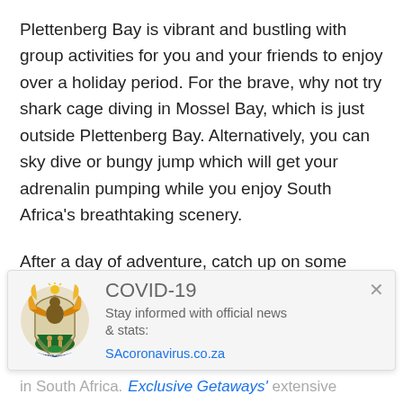Plettenberg Bay is vibrant and bustling with group activities for you and your friends to enjoy over a holiday period. For the brave, why not try shark cage diving in Mossel Bay, which is just outside Plettenberg Bay. Alternatively, you can sky dive or bungy jump which will get your adrenalin pumping while you enjoy South Africa's breathtaking scenery.
After a day of adventure, catch up on some much needed rest at the exclusive Plettenberg Park Hotel and Spa which is nestled on a cliff's edge in a private nature reserve. Enjoy the hotel's luxury private beach, 25-metre infinity pool and amazing sea
[Figure (infographic): COVID-19 banner with South Africa government coat of arms logo. Text: COVID-19, Stay informed with official news & stats:, SAcoronavirus.co.za (link). Close X button in top right.]
in South Africa. Exclusive Getaways' extensive